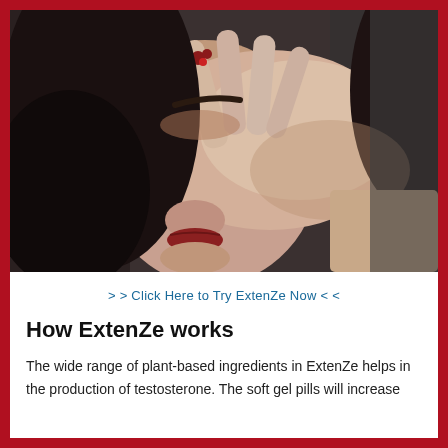[Figure (photo): Close-up photo of a woman covering her face with her hand, painted nails visible, dark hair, red lips partially visible]
> > Click Here to Try ExtenZe Now < <
How ExtenZe works
The wide range of plant-based ingredients in ExtenZe helps in the production of testosterone. The soft gel pills will increase